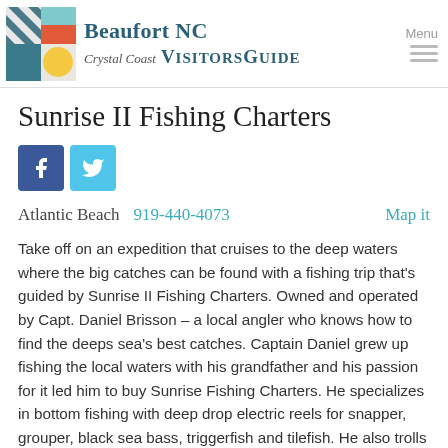Beaufort NC Crystal Coast VisitorsGuide
Sunrise II Fishing Charters
[Figure (logo): Facebook and Twitter social media buttons]
Atlantic Beach  919-440-4073  Map it
Take off on an expedition that cruises to the deep waters where the big catches can be found with a fishing trip that's guided by Sunrise II Fishing Charters. Owned and operated by Capt. Daniel Brisson – a local angler who knows how to find the deeps sea's best catches. Captain Daniel grew up fishing the local waters with his grandfather and his passion for it led him to buy Sunrise Fishing Charters. He specializes in bottom fishing with deep drop electric reels for snapper, grouper, black sea bass, triggerfish and tilefish. He also trolls